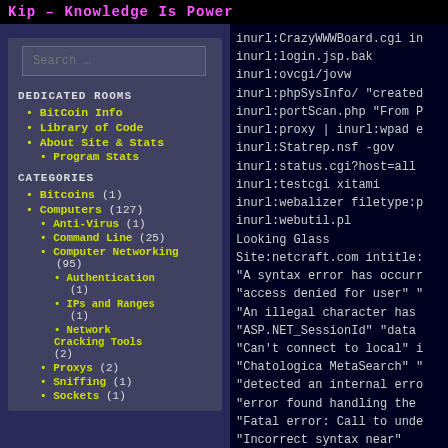Kip – Knowledge Is Power
DEDICATED ROOMS
BitCoin Info
Library of Code
About Site & Stats
Program Stats
CATEGORIES
Bitcoins (1)
Computers (127)
Anti-Virus (1)
Command Line (25)
Computer Networking (95)
Authentication (1)
IPs and Ranges (1)
Network Cracking Tools (2)
Proxys (2)
Sniffing (1)
Sockets (1)
inurl:CrazyWWWBoard.cgi in
inurl:login.jsp.bak
inurl:ovcgi/jovw
inurl:phpSysInfo/ "created
inurl:portScan.php "From P
inurl:proxy | inurl:wpad e
inurl:Statrep.nsf -gov
inurl:status.cgi?host=all
inurl:testcgi xitami
inurl:webalizer filetype:p
inurl:webutil.pl
Looking Glass
Site:netcraft.com intitle:
"A syntax error has occurr
"access denied for user" "
"An illegal character has 
"ASP.NET_SessionId" "data
"Can't connect to local" i
"Chatologica MetaSearch" "
"detected an internal erro
"error found handling the 
"Fatal error: Call to unde
"Incorrect syntax near"
"Incorrect syntax near"
"Internal Server Error" "s
"Invision Power Board Data
"ORA-00933: SQL command no
"ORA-12541: TNS:no listene
"Parse error: parse error,
"PostgreSQL query failed:
"Supplied argument is not